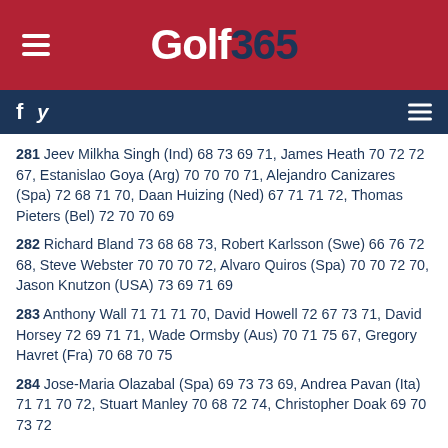Golf 365
281 Jeev Milkha Singh (Ind) 68 73 69 71, James Heath 70 72 72 67, Estanislao Goya (Arg) 70 70 70 71, Alejandro Canizares (Spa) 72 68 71 70, Daan Huizing (Ned) 67 71 71 72, Thomas Pieters (Bel) 72 70 70 69
282 Richard Bland 73 68 68 73, Robert Karlsson (Swe) 66 76 72 68, Steve Webster 70 70 70 72, Alvaro Quiros (Spa) 70 70 72 70, Jason Knutzon (USA) 73 69 71 69
283 Anthony Wall 71 71 71 70, David Howell 72 67 73 71, David Horsey 72 69 71 71, Wade Ormsby (Aus) 70 71 75 67, Gregory Havret (Fra) 70 68 70 75
284 Jose-Maria Olazabal (Spa) 69 73 73 69, Andrea Pavan (Ita) 71 71 70 72, Stuart Manley 70 68 72 74, Christopher Doak 69 70 73 72
285 Sam Walker 72 68 71 74, Andrew McArthur 71 67 74 73, Darren Clarke 72 68 73 72, John G Kelly 71 71 68 75, Johan Carlsson (Swe) 70 70 72 73